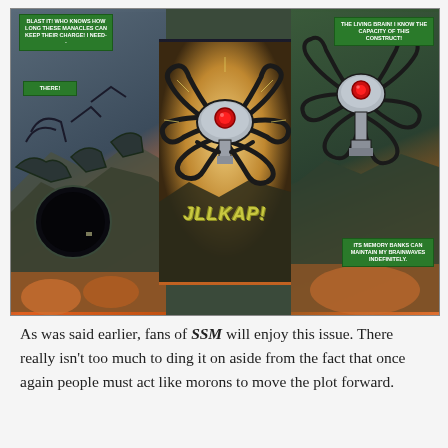[Figure (illustration): Comic book panels showing three vertical scenes: left panel shows a robotic/mechanical creature with manacles near a circular portal with speech boxes reading 'BLAST IT! WHO KNOWS HOW LONG THESE MANACLES CAN KEEP THEIR CHARGE! I NEED--' and 'THERE!'; center panel shows the Living Brain robot (spider-like with red eye) with sound effect 'JLLKAP!'; right panel shows the Living Brain with speech boxes reading 'THE LIVING BRAIN! I KNOW THE CAPACITY OF THIS CONSTRUCT!' and 'ITS MEMORY BANKS CAN MAINTAIN MY BRAINWAVES INDEFINITELY.' Background at bottom shows orange glowing figures.]
As was said earlier, fans of SSM will enjoy this issue. There really isn't too much to ding it on aside from the fact that once again people must act like morons to move the plot forward.